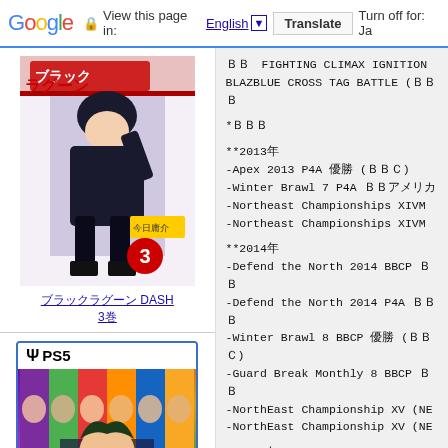Google  View this page in: English [▼]  Translate  Turn off for: Ja
[Figure (illustration): Manga book cover showing an anime-style female character in dark outfit crouching, with Japanese text and number 3]
ブラックラグーン DASH 3巻
[Figure (photo): PS5 game box for JoJo's Bizarre Adventure game showing colorful character art on purple/rainbow background]
ジョジョの奇妙な冒険 R PS5版
ＢＢ　FIGHTING CLIMAX IGNITION
BLAZBLUE CROSS TAG BATTLE (ＢＢ

*ＢＢ

**2013年
-Apex 2013 P4A 優勝 (ＢＢＣ)
-Winter Brawl 7 P4A ＢＢアメリカ
-Northeast Championships XIVM
-Northeast Championships XIVM

**2014年
-Defend the North 2014 BBCP ＢＢ
-Defend the North 2014 P4A ＢＢ
-Winter Brawl 8 BBCP 優勝 (ＢＢＣ)
-Guard Break Monthly 8 BBCP ＢＢ
-NorthEast Championship XV (NE
-NorthEast Championship XV (NE

**2015年
-Kumite in Tennessee BBCP 優勝 (
-Kumite in Tennessee P4U2 ＢＢ
-Kumite in Tennossoo GG XRD